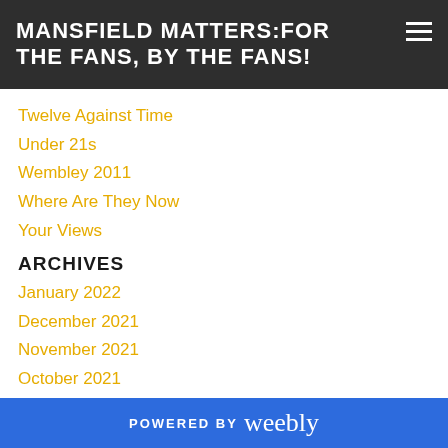MANSFIELD MATTERS:FOR THE FANS, BY THE FANS!
Twelve Against Time
Under 21s
Wembley 2011
Where Are They Now
Your Views
ARCHIVES
January 2022
December 2021
November 2021
October 2021
September 2021
August 2021
July 2021
May 2021
POWERED BY weebly